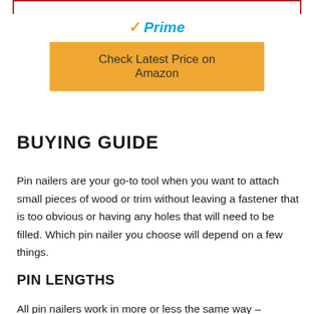[Figure (logo): Amazon Prime logo with orange checkmark and blue 'Prime' text]
Check Latest Price on Amazon
BUYING GUIDE
Pin nailers are your go-to tool when you want to attach small pieces of wood or trim without leaving a fastener that is too obvious or having any holes that will need to be filled. Which pin nailer you choose will depend on a few things.
PIN LENGTHS
All pin nailers work in more or less the same way –